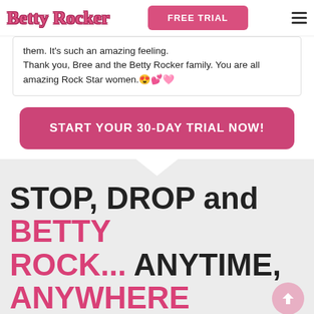Betty Rocker | FREE TRIAL
them. It's such an amazing feeling. Thank you, Bree and the Betty Rocker family. You are all amazing Rock Star women. 😍💕🩷
START YOUR 30-DAY TRIAL NOW!
STOP, DROP and BETTY ROCK... ANYTIME, ANYWHERE